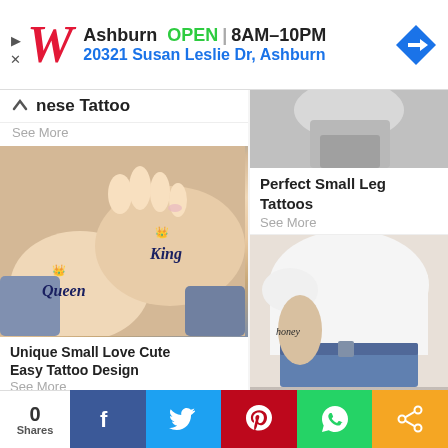[Figure (screenshot): Walgreens advertisement banner: red W logo, Ashburn OPEN 8AM-10PM, 20321 Susan Leslie Dr Ashburn, blue navigation arrow icon]
nese Tattoo
See More
[Figure (photo): Two wrists side by side showing Queen and King tattoos with crowns]
Unique Small Love Cute Easy Tattoo Design
See More
[Figure (photo): Leg/calf area showing small tattoo, gray background]
Perfect Small Leg Tattoos
See More
[Figure (photo): Person in white t-shirt and jeans with small honey script tattoo on arm/side]
0 Shares
[Figure (infographic): Social share bar with Facebook, Twitter, Pinterest, WhatsApp, and share icons]